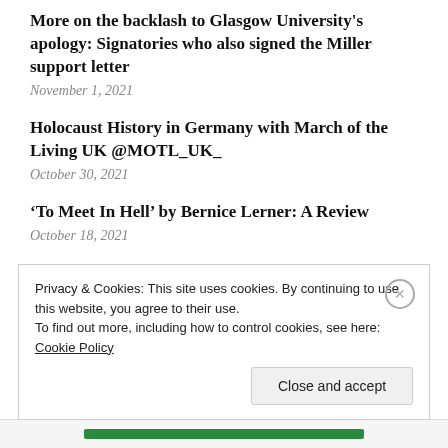More on the backlash to Glasgow University's apology: Signatories who also signed the Miller support letter
November 1, 2021
Holocaust History in Germany with March of the Living UK @MOTL_UK_
October 30, 2021
‘To Meet In Hell’ by Bernice Lerner: A Review
October 18, 2021
Ireland’s Antisemitism
October 7, 2021
Privacy & Cookies: This site uses cookies. By continuing to use this website, you agree to their use.
To find out more, including how to control cookies, see here: Cookie Policy